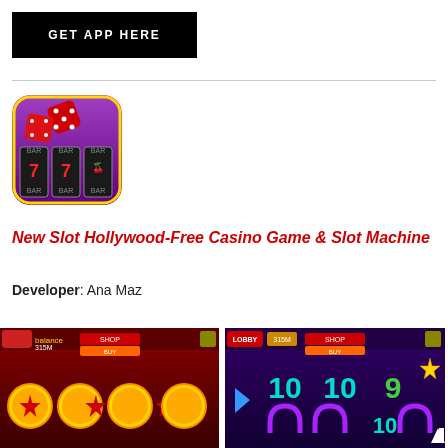[Figure (logo): Black rectangle button with white bold uppercase text GET APP HERE]
[Figure (logo): Casino app icon showing slot machine reels with 777 and red dice on purple background, golden rounded square border]
New Slot Hollywood-Free Casino Game & Slot Machine
Developer: Ana Maz
[Figure (screenshot): Casino slot machine screenshot showing gold star medal coins on dark red background with shop/buy UI]
[Figure (screenshot): Casino slot machine screenshot showing colorful number symbols 10, 9 and horseshoe symbols on purple background with LOBBY button]